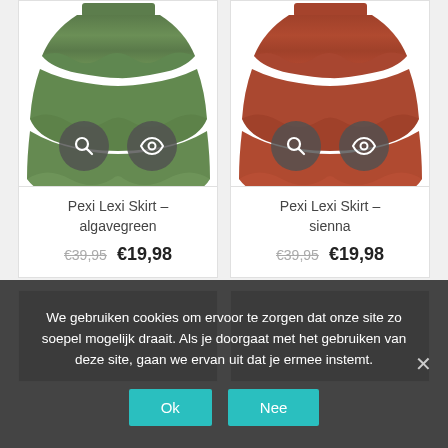[Figure (photo): Green tiered skirt product photo with search and quick-view buttons]
Pexi Lexi Skirt – algavegreen
€39,95  €19,98
[Figure (photo): Sienna/red-brown tiered skirt product photo with search and quick-view buttons]
Pexi Lexi Skirt – sienna
€39,95  €19,98
We gebruiken cookies om ervoor te zorgen dat onze site zo soepel mogelijk draait. Als je doorgaat met het gebruiken van deze site, gaan we ervan uit dat je ermee instemt.